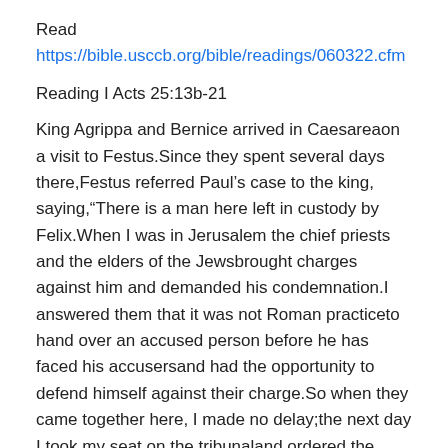Read
https://bible.usccb.org/bible/readings/060322.cfm
Reading I Acts 25:13b-21
King Agrippa and Bernice arrived in Caesareaon a visit to Festus.Since they spent several days there,Festus referred Paul’s case to the king, saying,“There is a man here left in custody by Felix.When I was in Jerusalem the chief priests and the elders of the Jewsbrought charges against him and demanded his condemnation.I answered them that it was not Roman practiceto hand over an accused person before he has faced his accusersand had the opportunity to defend himself against their charge.So when they came together here, I made no delay;the next day I took my seat on the tribunaland ordered the man to